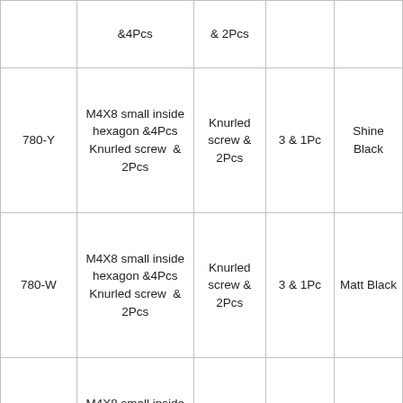|  | &4Pcs | & 2Pcs |  |  |
| 780-Y | M4X8 small inside hexagon &4Pcs Knurled screw & 2Pcs | Knurled screw & 2Pcs | 3 & 1Pc | Shine Black |
| 780-W | M4X8 small inside hexagon &4Pcs Knurled screw & 2Pcs | Knurled screw & 2Pcs | 3 & 1Pc | Matt Black |
|  | M4X8 small inside |  |  |  |